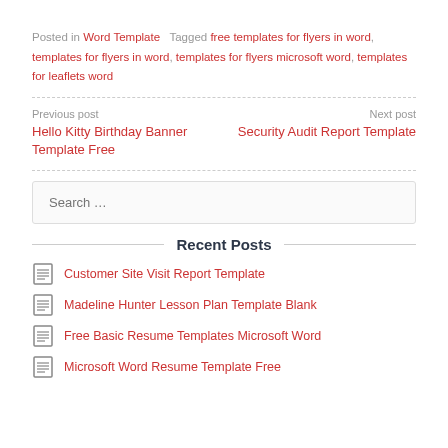Posted in Word Template   Tagged free templates for flyers in word, templates for flyers in word, templates for flyers microsoft word, templates for leaflets word
Previous post
Hello Kitty Birthday Banner Template Free
Next post
Security Audit Report Template
Search …
Recent Posts
Customer Site Visit Report Template
Madeline Hunter Lesson Plan Template Blank
Free Basic Resume Templates Microsoft Word
Microsoft Word Resume Template Free